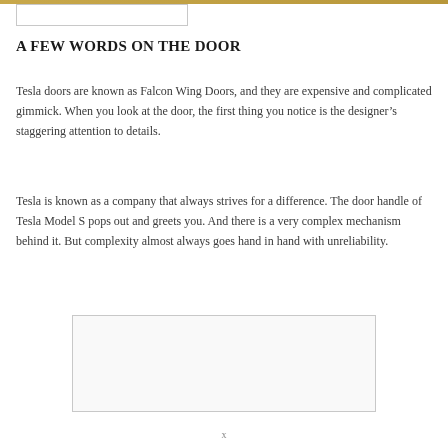A FEW WORDS ON THE DOOR
Tesla doors are known as Falcon Wing Doors, and they are expensive and complicated gimmick. When you look at the door, the first thing you notice is the designer’s staggering attention to details.
Tesla is known as a company that always strives for a difference. The door handle of Tesla Model S pops out and greets you. And there is a very complex mechanism behind it. But complexity almost always goes hand in hand with unreliability.
[Figure (other): Empty image placeholder box]
x